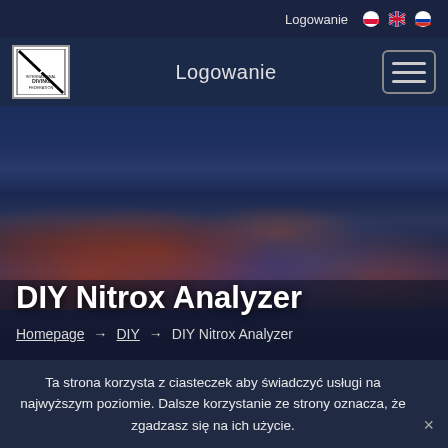Logowanie
DIY Nitrox Analyzer
Homepage → DIY → DIY Nitrox Analyzer
Ta strona korzysta z ciasteczek aby świadczyć usługi na najwyższym poziomie. Dalsze korzystanie ze strony oznacza, że zgadzasz się na ich użycie.